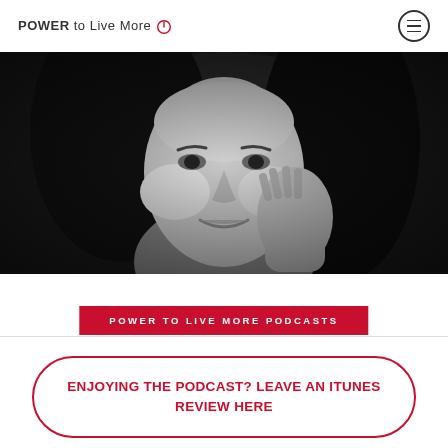POWER to Live More
[Figure (photo): Black and white close-up portrait of a woman smiling, resting her chin/cheek on her hand]
POWER TO LIVE MORE PODCASTS
ENJOYING THE PODCAST? LEAVE AN ITUNES REVIEW HERE